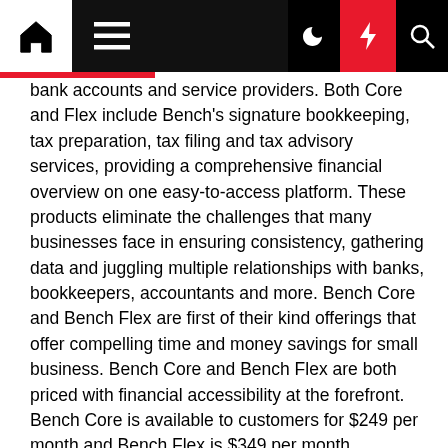[Navigation bar with home, menu, dark mode, lightning/boost, and search icons]
bank accounts and service providers. Both Core and Flex include Bench's signature bookkeeping, tax preparation, tax filing and tax advisory services, providing a comprehensive financial overview on one easy-to-access platform. These products eliminate the challenges that many businesses face in ensuring consistency, gathering data and juggling multiple relationships with banks, bookkeepers, accountants and more. Bench Core and Bench Flex are first of their kind offerings that offer compelling time and money savings for small business. Bench Core and Bench Flex are both priced with financial accessibility at the forefront. Bench Core is available to customers for $249 per month and Bench Flex is $349 per month.
This launch, along with Bench's integration with Shopify, Stripe, Freshbooks, Sage, LendingClub, and